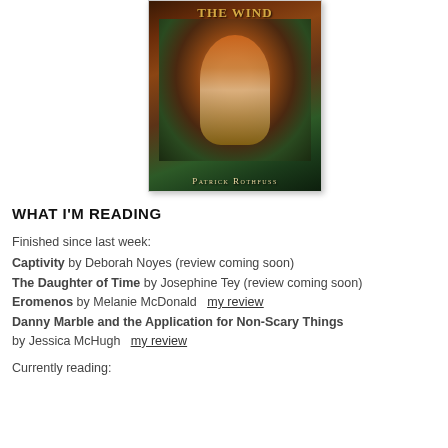[Figure (photo): Book cover showing 'The Wind' by Patrick Rothfuss — a fantasy cover with a red-haired figure and dark atmospheric background. Author name 'Patrick Rothfuss' appears at the bottom.]
WHAT I'M READING
Finished since last week:
Captivity by Deborah Noyes (review coming soon)
The Daughter of Time by Josephine Tey (review coming soon)
Eromenos by Melanie McDonald  my review
Danny Marble and the Application for Non-Scary Things by Jessica McHugh  my review
Currently reading: